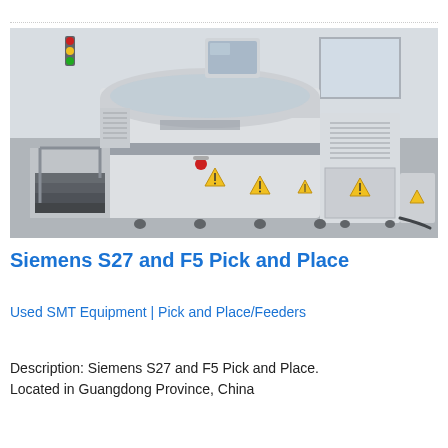[Figure (photo): Photo of a Siemens S27 and F5 Pick and Place industrial SMT machine in a factory setting. The machine is large, white/grey colored with warning labels (yellow triangles), a monitor on top, a red emergency stop button, and stair-steps on the left side. Located in an industrial facility.]
Siemens S27 and F5 Pick and Place
Used SMT Equipment | Pick and Place/Feeders
Description: Siemens S27 and F5 Pick and Place. Located in Guangdong Province, China